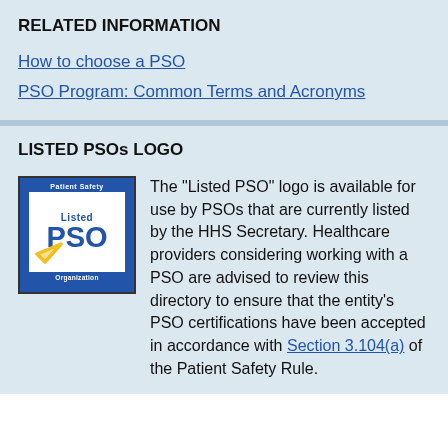RELATED INFORMATION
How to choose a PSO
PSO Program: Common Terms and Acronyms
LISTED PSOs LOGO
[Figure (logo): Listed PSO Organization logo — blue bordered square with 'Patient Safety' at top, white inner box with 'Listed PSO' text and yellow checkmark, 'Organization' at bottom]
The "Listed PSO" logo is available for use by PSOs that are currently listed by the HHS Secretary. Healthcare providers considering working with a PSO are advised to review this directory to ensure that the entity's PSO certifications have been accepted in accordance with Section 3.104(a) of the Patient Safety Rule.